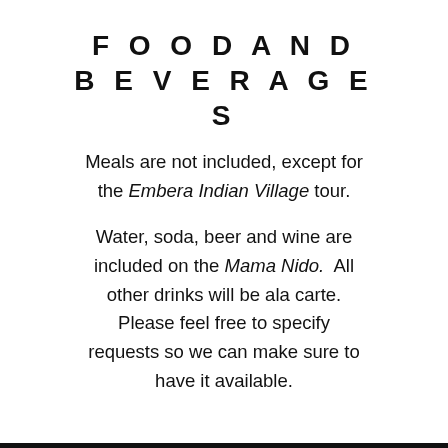FOOD AND BEVERAGES
Meals are not included, except for the Embera Indian Village tour.

Water, soda, beer and wine are included on the Mama Nido.  All other drinks will be ala carte.  Please feel free to specify requests so we can make sure to have it available.